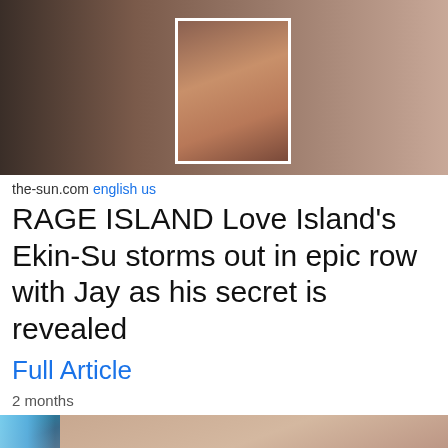[Figure (photo): TV show screenshot showing people, with a white-bordered inset box highlighting a woman's face in the center]
the-sun.com english us
RAGE ISLAND Love Island's Ekin-Su storms out in epic row with Jay as his secret is revealed
Full Article
2 months
[Figure (photo): Close-up photo of a young woman with long brown hair, wearing red lipstick, looking to the side with a blue light on the left edge]